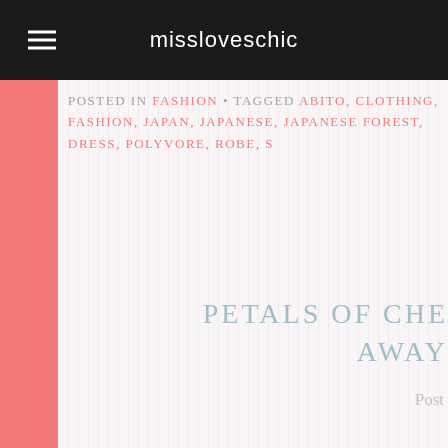missloveschic
POSTED IN FASHION • TAGGED ABITO, CLOTHING, FASHION, JAPAN, JAPANESE, JAPANESE FOREST, DRESS, POLYVORE, ROBE, S
PETALS OF CHE... AWAY
Post